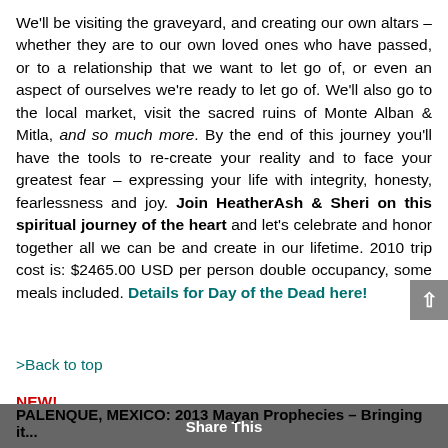We'll be visiting the graveyard, and creating our own altars – whether they are to our own loved ones who have passed, or to a relationship that we want to let go of, or even an aspect of ourselves we're ready to let go of. We'll also go to the local market, visit the sacred ruins of Monte Alban & Mitla, and so much more. By the end of this journey you'll have the tools to re-create your reality and to face your greatest fear – expressing your life with integrity, honesty, fearlessness and joy. Join HeatherAsh & Sheri on this spiritual journey of the heart and let's celebrate and honor together all we can be and create in our lifetime. 2010 trip cost is: $2465.00 USD per person double occupancy, some meals included. Details for Day of the Dead here!
>Back to top
NEW!
PALENQUE, MEXICO: 2013 Mayan Prophecies – Bringing it...